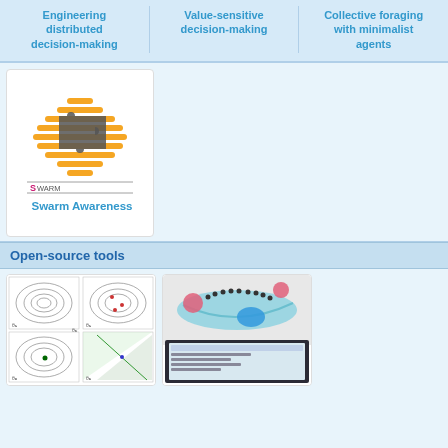Engineering distributed decision-making
Value-sensitive decision-making
Collective foraging with minimalist agents
[Figure (logo): SwarmAwareness logo: horizontal orange bars arranged in an oval shape with a dark grey puzzle piece in the center, and 'SWARM AWARENESS' text below]
Swarm Awareness
Open-source tools
[Figure (screenshot): Four-panel scientific plot showing contour lines and scatter points in parameter space, arranged in a 2x2 grid]
[Figure (photo): Photo of a physical robot swarm experiment with colored dots on a surface and a computer monitor showing tracking software]